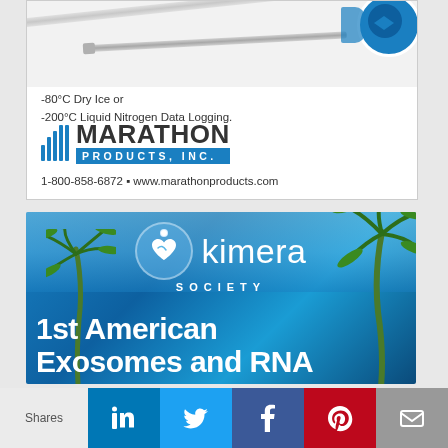[Figure (illustration): Marathon Products Inc advertisement showing temperature probe/sensor with cable, company logo with blue vertical lines graphic, and contact information. Text reads: -80°C Dry Ice or -200°C Liquid Nitrogen Data Logging. 1-800-858-6872 • www.marathonproducts.com]
[Figure (illustration): Kimera Society advertisement with tropical beach background featuring palm trees and blue sky. Shows Kimera Society logo (heart in circle) and text: 1st American Exosomes and RNA]
[Figure (infographic): Social media share bar at bottom with LinkedIn, Twitter, Facebook, Pinterest, and Email icons. Label reads: Shares]